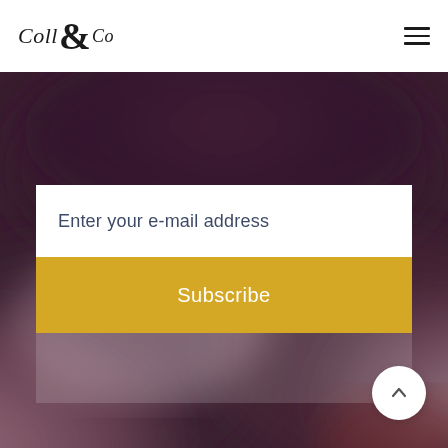Coll & Co
[Figure (photo): Blurred abstract purple and mauve background image, resembling a close-up of fabric or abstract art]
Enter your e-mail address
Subscribe